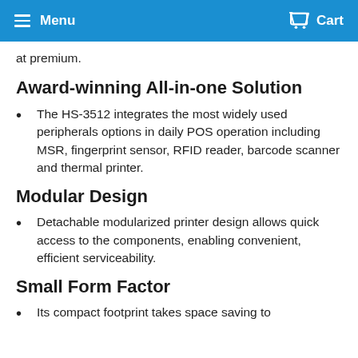Menu  Cart
at premium.
Award-winning All-in-one Solution
The HS-3512 integrates the most widely used peripherals options in daily POS operation including MSR, fingerprint sensor, RFID reader, barcode scanner and thermal printer.
Modular Design
Detachable modularized printer design allows quick access to the components, enabling convenient, efficient serviceability.
Small Form Factor
Its compact footprint takes space saving to